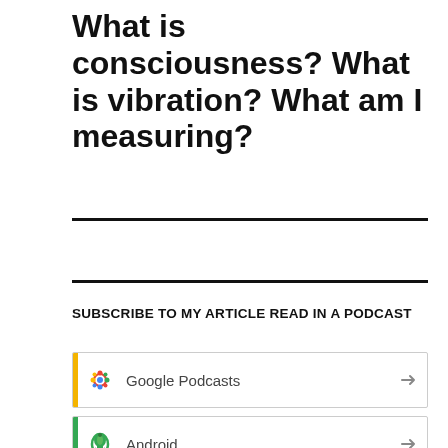What is consciousness? What is vibration? What am I measuring?
SUBSCRIBE TO MY ARTICLE READ IN A PODCAST
Google Podcasts
Android
by Email
(partial, orange bar visible)